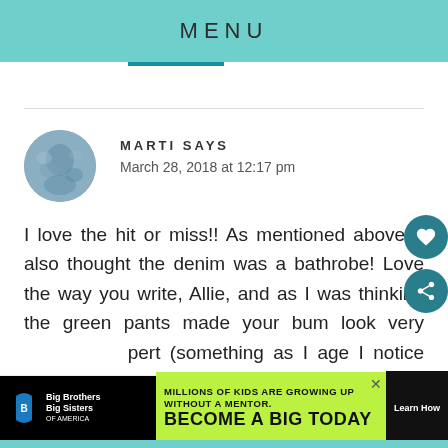MENU
[Figure (photo): Circular avatar photo of commenter Marti, showing a blue-gray textured image]
MARTI SAYS
March 28, 2018 at 12:17 pm
I love the hit or miss!! As mentioned above, I also thought the denim was a bathrobe! Love the way you write, Allie, and as I was thinking the green pants made your bum look very pert (something as I age I notice more) I got a big belly laugh out of your leprechaun description.
[Figure (infographic): Big Brothers Big Sisters advertisement: MILLIONS OF KIDS ARE GROWING UP WITHOUT A MENTOR. BECOME A BIG TODAY. Learn How.]